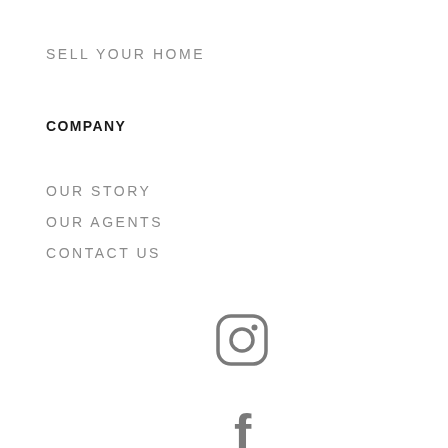SELL YOUR HOME
COMPANY
OUR STORY
OUR AGENTS
CONTACT US
[Figure (illustration): Instagram icon (rounded square camera outline with dot), Facebook icon (lowercase f), LinkedIn icon (white 'in' on gray circle) — three social media icons stacked vertically]